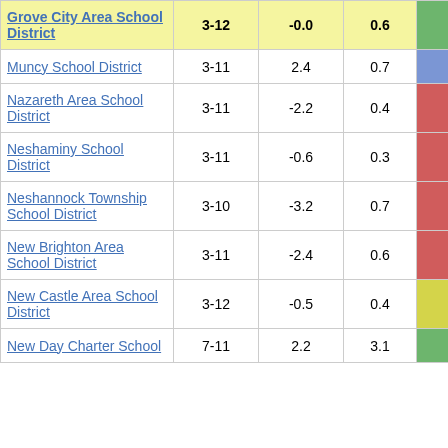| District | Grades | Col3 | Col4 | Score |
| --- | --- | --- | --- | --- |
| Grove City Area School District | 3-12 | -0.0 | 0.6 | -0.00 |
| Muncy School District | 3-11 | 2.4 | 0.7 | 3.35 |
| Nazareth Area School District | 3-11 | -2.2 | 0.4 | -5.78 |
| Neshaminy School District | 3-11 | -0.6 | 0.3 | -2.16 |
| Neshannock Township School District | 3-10 | -3.2 | 0.7 | -4.79 |
| New Brighton Area School District | 3-11 | -2.4 | 0.6 | -3.88 |
| New Castle Area School District | 3-12 | -0.5 | 0.4 | -1.11 |
| New Day Charter School | 7-11 | 2.2 | 3.1 | 0.71 |